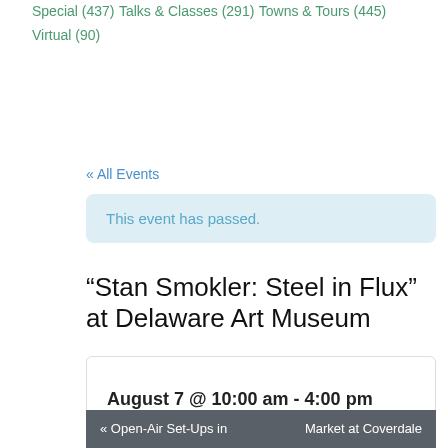Special (437)
Talks & Classes (291)
Towns & Tours (445)
Virtual (90)
« All Events
This event has passed.
“Stan Smokler: Steel in Flux” at Delaware Art Museum
August 7 @ 10:00 am - 4:00 pm
Recurring Event (See all)
« Open-Air Set-Ups in ... Market at Coverdale